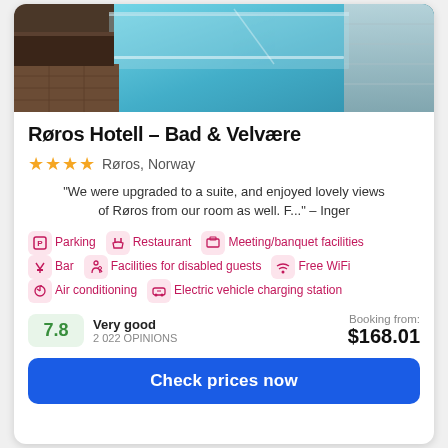[Figure (photo): Indoor swimming pool with blue water, glass railing, wooden floor and tiled walls]
Røros Hotell – Bad & Velvære
★★★★  Røros, Norway
"We were upgraded to a suite, and enjoyed lovely views of Røros from our room as well. F..." – Inger
Parking
Restaurant
Meeting/banquet facilities
Bar
Facilities for disabled guests
Free WiFi
Air conditioning
Electric vehicle charging station
7.8  Very good  2 022 OPINIONS  Booking from: $168.01
Check prices now